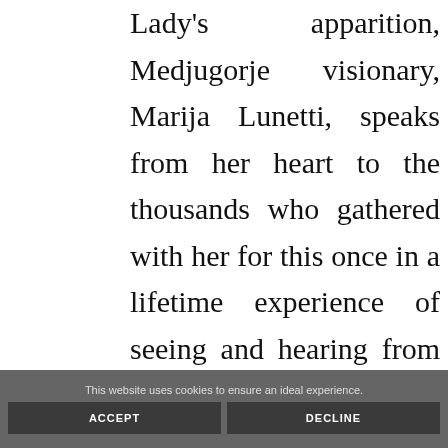Lady's apparition, Medjugorje visionary, Marija Lunetti, speaks from her heart to the thousands who gathered with her for this once in a lifetime experience of seeing and hearing from someone who has had daily visions of the Virgin
This website uses cookies to ensure an ideal experience.
ACCEPT
DECLINE